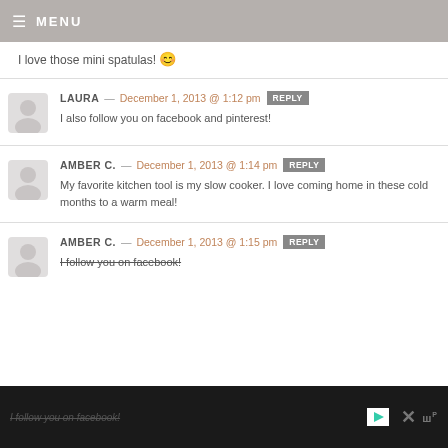MENU
I love those mini spatulas! 😊
LAURA — December 1, 2013 @ 1:12 pm [REPLY]
I also follow you on facebook and pinterest!
AMBER C. — December 1, 2013 @ 1:14 pm [REPLY]
My favorite kitchen tool is my slow cooker. I love coming home in these cold months to a warm meal!
AMBER C. — December 1, 2013 @ 1:15 pm [REPLY]
I follow you on facebook!